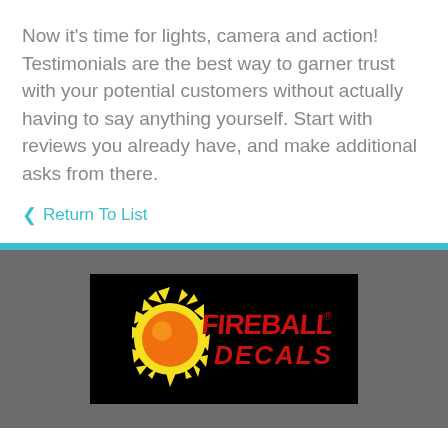Now it's time for lights, camera and action! Testimonials are the best way to garner trust with your potential customers without actually having to say anything yourself. Start with reviews you already have, and make additional asks from there.
‹  Return To List
[Figure (logo): Fireball Decals logo on black background — yellow/orange fireball with red text FIREBALL and red italic text DECALS]